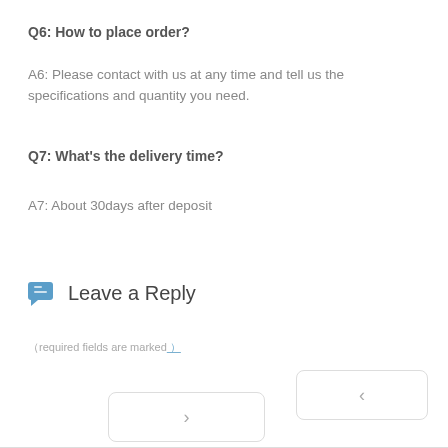Q6: How to place order?
A6: Please contact with us at any time and tell us the specifications and quantity you need.
Q7: What's the delivery time?
A7: About 30days after deposit
Leave a Reply
（required fields are marked）
[Figure (other): Navigation previous button with < chevron]
[Figure (other): Navigation next button with > chevron]